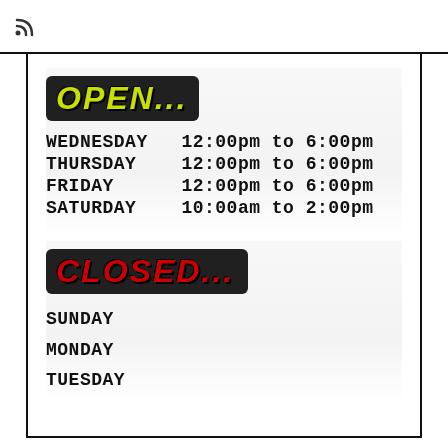[Figure (other): RSS/feed icon symbol in top bar]
OPEN...
| Day | Hours |
| --- | --- |
| WEDNESDAY | 12:00pm to 6:00pm |
| THURSDAY | 12:00pm to 6:00pm |
| FRIDAY | 12:00pm to 6:00pm |
| SATURDAY | 10:00am to 2:00pm |
CLOSED...
SUNDAY
MONDAY
TUESDAY